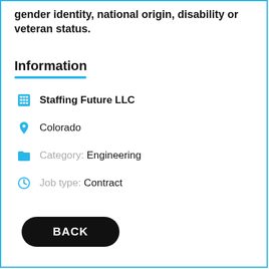gender identity, national origin, disability or veteran status.
Information
Staffing Future LLC
Colorado
Category: Engineering
Job type: Contract
BACK